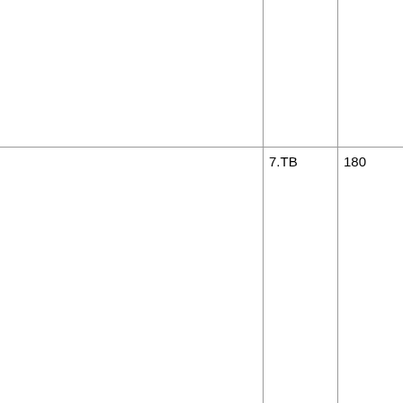|  |  |  |  |
| --- | --- | --- | --- |
|  |  |  | 022.S
023.S
024.S
025.S
501.XR |
|  | 7.TB | 180 | 001 00
003 00
005 00
007 00
009 01
011 01
013 01
015 01
017 01
019 01
021 01
023 01
025 01
027 01 |